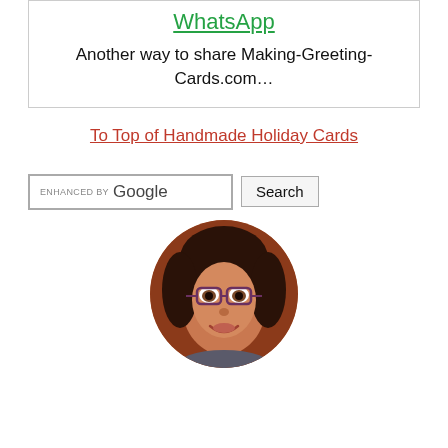WhatsApp
Another way to share Making-Greeting-Cards.com…
To Top of Handmade Holiday Cards
[Figure (screenshot): Google enhanced search box with Search button]
[Figure (photo): Circular profile photo of a woman with glasses and dark hair]